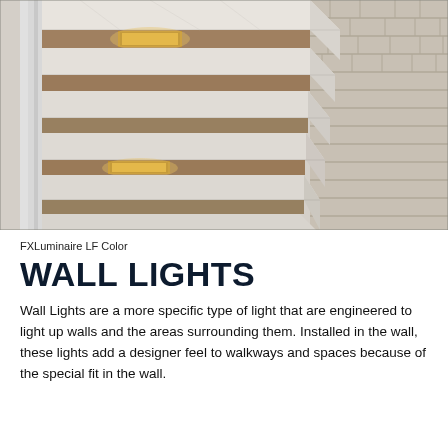[Figure (photo): Marble staircase with warm LED step lights embedded in the risers, next to a stone brick wall]
FXLuminaire LF Color
WALL LIGHTS
Wall Lights are a more specific type of light that are engineered to light up walls and the areas surrounding them. Installed in the wall, these lights add a designer feel to walkways and spaces because of the special fit in the wall.